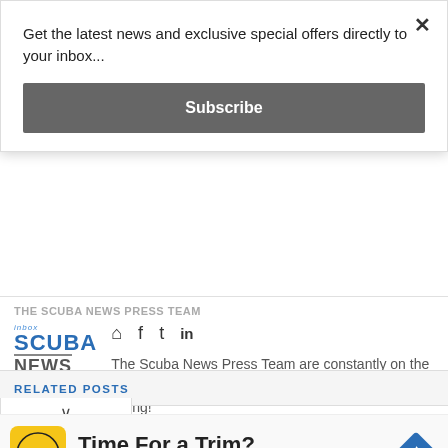Get the latest news and exclusive special offers directly to your inbox...
Subscribe
THE SCUBA NEWS PRESS TEAM
[Figure (logo): Scuba News logo with 'inbox' label, blue SCUBA text and grey NEWS text]
The Scuba News Press Team are constantly on the hunt for great news articles from the world of scuba diving!
RELATED POSTS
[Figure (infographic): Advertisement banner: Time For a Trim? Hair Cuttery with yellow HC logo and blue diamond arrow icon]